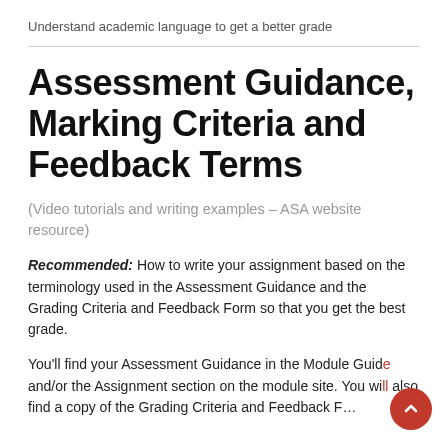Understand academic language to get a better grade
Assessment Guidance, Marking Criteria and Feedback Terms
(Video tutorials and writing examples – ASA website resource)
Recommended: How to write your assignment based on the terminology used in the Assessment Guidance and the Grading Criteria and Feedback Form so that you get the best grade.
You'll find your Assessment Guidance in the Module Guide and/or the Assignment section on the module site. You will also find a copy of the Grading Criteria and Feedback F…